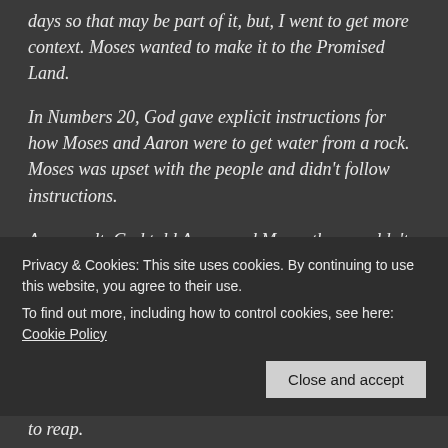days so that may be part of it, but, I went to get more context. Moses wanted to make it to the Promised Land.
In Numbers 20, God gave explicit instructions for how Moses and Aaron were to get water from a rock. Moses was upset with the people and didn't follow instructions.
As a result, God told Aaron and Moses they wouldn't bring the people to the Promised Land.
That brings us to Deuteronomy 3. Moses tells the people he asked to make it but God was upset with him on their behalf and told him not to talk about making it to the Promised Land
Privacy & Cookies: This site uses cookies. By continuing to use this website, you agree to their use.
To find out more, including how to control cookies, see here: Cookie Policy
and will seek strength to endure whatever else I have to reap.